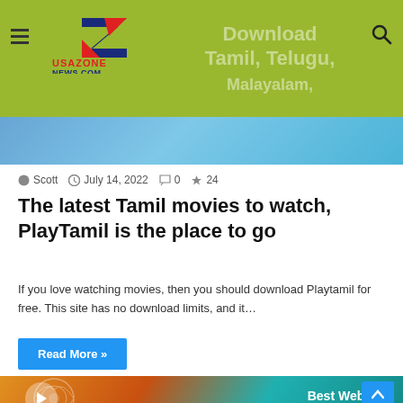[Figure (screenshot): Website header with lime-green background, hamburger menu, USAZONENEWS.COM logo, and search icon. Background text reads Download Tamil, Telugu, Malayalam, Bollywood, Hollywood, Panjabi]
[Figure (screenshot): Hero banner image with blue gradient background, 1080p badge, text Bollywood, Hollywood, Panjabi, and an All badge in blue]
Scott  July 14, 2022  0  24
The latest Tamil movies to watch, PlayTamil is the place to go
If you love watching movies, then you should download Playtamil for free. This site has no download limits, and it…
Read More »
[Figure (screenshot): Second article thumbnail showing Best Websites for Hindi Movies with colorful gradient background and floral design]